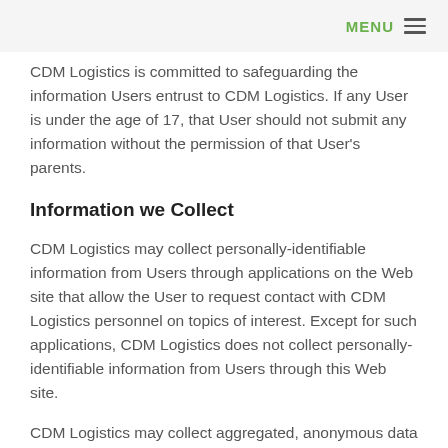MENU ≡
CDM Logistics is committed to safeguarding the information Users entrust to CDM Logistics. If any User is under the age of 17, that User should not submit any information without the permission of that User's parents.
Information we Collect
CDM Logistics may collect personally-identifiable information from Users through applications on the Web site that allow the User to request contact with CDM Logistics personnel on topics of interest. Except for such applications, CDM Logistics does not collect personally-identifiable information from Users through this Web site.
CDM Logistics may collect aggregated, anonymous data about Users, including, for example, the